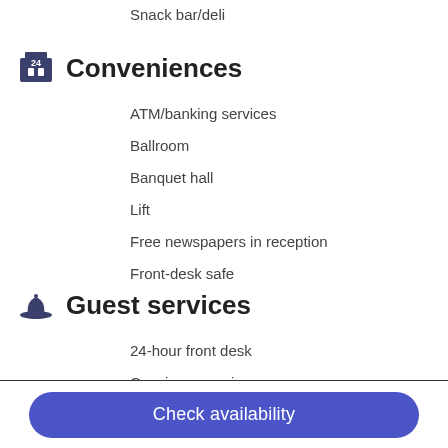Snack bar/deli
Conveniences
ATM/banking services
Ballroom
Banquet hall
Lift
Free newspapers in reception
Front-desk safe
Guest services
24-hour front desk
Concierge services
Daily housekeeping
Dry-cleaning service
Luggage storage
Check availability